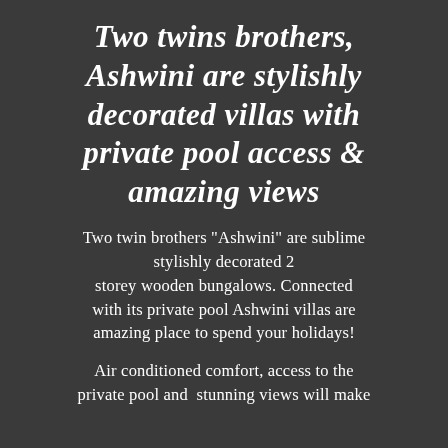Two twins brothers, Ashwini are stylishly decorated villas with private pool access & amazing views
Two twin brothers "Ashwini" are sublime stylishly decorated 2 storey wooden bungalows. Connected with its private pool Ashwini villas are amazing place to spend your holidays!
Air conditioned comfort, access to the private pool and  stunning views will make